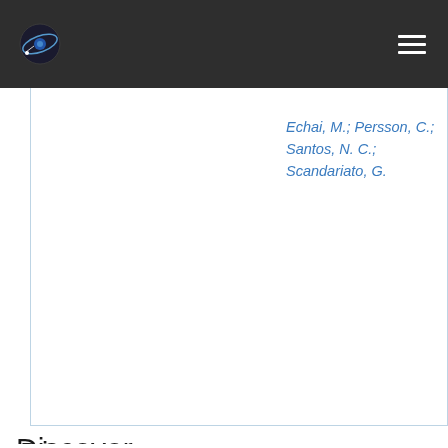NASA logo and hamburger menu navigation bar
Echai, M.; Persson, C.; Santos, N. C.; Scandariato, G.
Discover
Author
Ribas, I. 6
Caballero, J. A. 5
Herrero, A. 5
Jeffers, S. V. 5